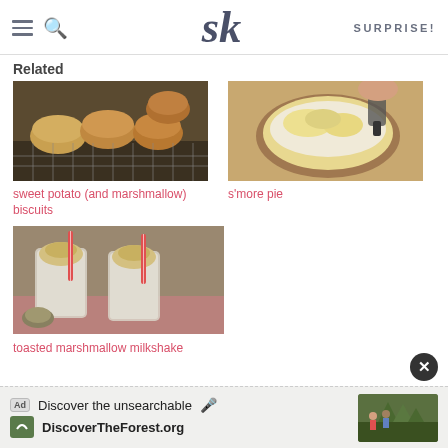SK — SURPRISE!
Related
[Figure (photo): Sweet potato (and marshmallow) biscuits on a cooling rack, dark background]
sweet potato (and marshmallow) biscuits
[Figure (photo): S'more pie being torched on a wooden surface]
s'more pie
[Figure (photo): Two toasted marshmallow milkshakes with red and white striped straws on a pink cloth]
toasted marshmallow milkshake
Discover the unsearchable — DiscoverTheForest.org